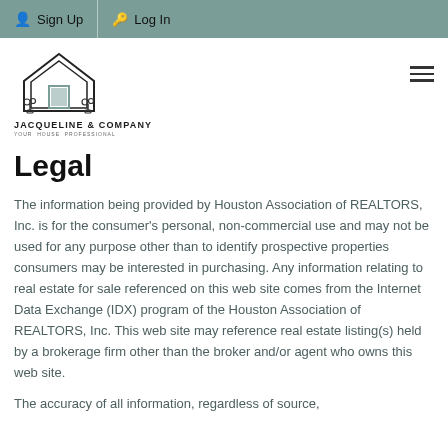Sign Up  Log In
[Figure (logo): Jacqueline & Company house logo with stylized home outline and small plant icons]
Legal
The information being provided by Houston Association of REALTORS, Inc. is for the consumer's personal, non-commercial use and may not be used for any purpose other than to identify prospective properties consumers may be interested in purchasing. Any information relating to real estate for sale referenced on this web site comes from the Internet Data Exchange (IDX) program of the Houston Association of REALTORS, Inc. This web site may reference real estate listing(s) held by a brokerage firm other than the broker and/or agent who owns this web site.
The accuracy of all information, regardless of source,